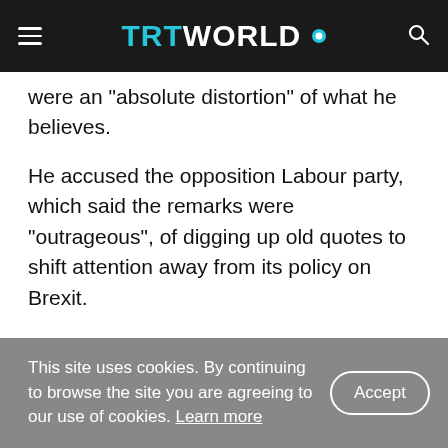TRT WORLD
were an "absolute distortion" of what he believes.
He accused the opposition Labour party, which said the remarks were "outrageous", of digging up old quotes to shift attention away from its policy on Brexit.
"They're just trying to distract from the reality that they have no plan to get out us out of the European Union," Johnson said.
Conservatives ahead of Labour
This site uses cookies. By continuing to browse the site you are agreeing to our use of cookies. Learn more